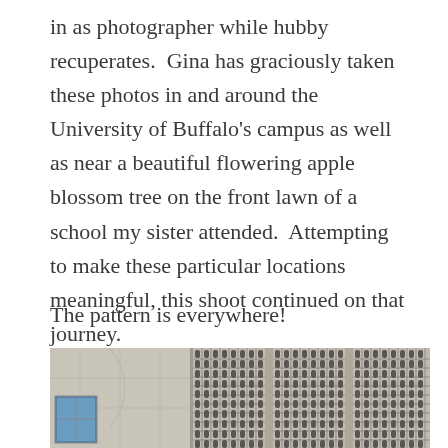in as photographer while hubby recuperates. Gina has graciously taken these photos in and around the University of Buffalo's campus as well as near a beautiful flowering apple blossom tree on the front lawn of a school my sister attended. Attempting to make these particular locations meaningful, this shoot continued on that journey.
The pattern is everywhere!
[Figure (photo): Photograph of a concrete building facade featuring decorative lattice/screen block panels with geometric patterns, alongside a plain concrete wall section and a window with blue sky visible.]